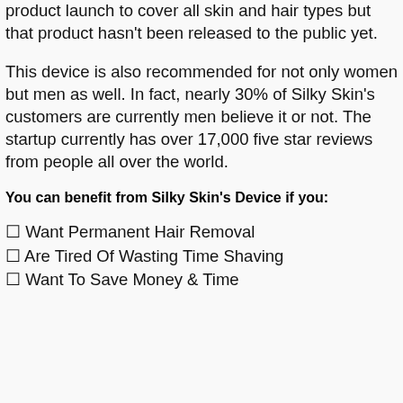product launch to cover all skin and hair types but that product hasn't been released to the public yet.
This device is also recommended for not only women but men as well. In fact, nearly 30% of Silky Skin's customers are currently men believe it or not. The startup currently has over 17,000 five star reviews from people all over the world.
You can benefit from Silky Skin's Device if you:
✓ Want Permanent Hair Removal
✓ Are Tired Of Wasting Time Shaving
✓ Want To Save Money & Time